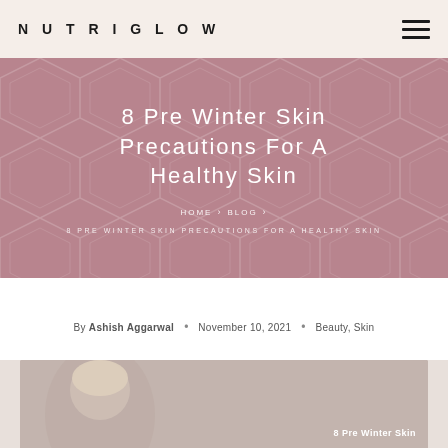NUTRIGLOW
8 Pre Winter Skin Precautions For A Healthy Skin
HOME › BLOG ›
8 PRE WINTER SKIN PRECAUTIONS FOR A HEALTHY SKIN
By Ashish Aggarwal • November 10, 2021 • Beauty, Skin
[Figure (photo): Woman with towel on head touching forehead, with text overlay '8 Pre Winter Skin']